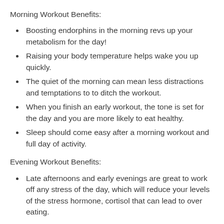Morning Workout Benefits:
Boosting endorphins in the morning revs up your metabolism for the day!
Raising your body temperature helps wake you up quickly.
The quiet of the morning can mean less distractions and temptations to to ditch the workout.
When you finish an early workout, the tone is set for the day and you are more likely to eat healthy.
Sleep should come easy after a morning workout and full day of activity.
Evening Workout Benefits:
Late afternoons and early evenings are great to work off any stress of the day, which will reduce your levels of the stress hormone, cortisol that can lead to over eating.